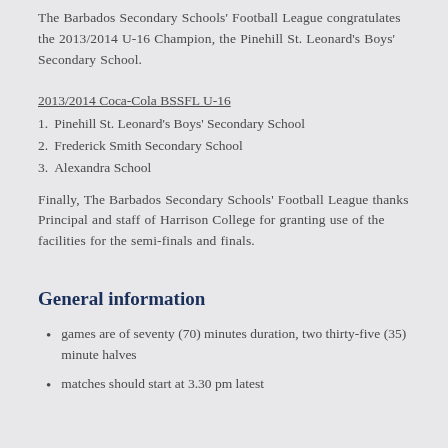The Barbados Secondary Schools' Football League congratulates the 2013/2014 U-16 Champion, the Pinehill St. Leonard's Boys' Secondary School.
2013/2014 Coca-Cola BSSFL U-16
1. Pinehill St. Leonard's Boys' Secondary School
2. Frederick Smith Secondary School
3. Alexandra School
Finally, The Barbados Secondary Schools' Football League thanks Principal and staff of Harrison College for granting use of the facilities for the semi-finals and finals.
General information
games are of seventy (70) minutes duration, two thirty-five (35) minute halves
matches should start at 3.30 pm latest